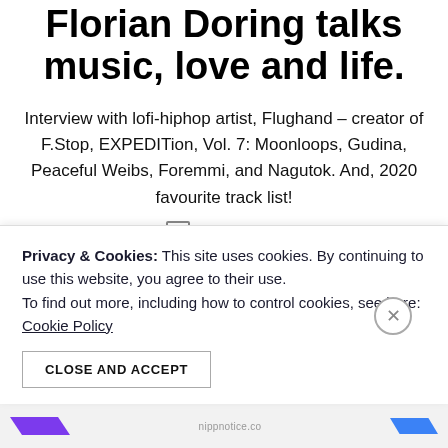Florian Doring talks music, love and life.
Interview with lofi-hiphop artist, Flughand – creator of F.Stop, EXPEDITion, Vol. 7: Moonloops, Gudina, Peaceful Weibs, Foremmi, and Nagutok. And, 2020 favourite track list!
2 Comments
Privacy & Cookies: This site uses cookies. By continuing to use this website, you agree to their use. To find out more, including how to control cookies, see here: Cookie Policy
CLOSE AND ACCEPT